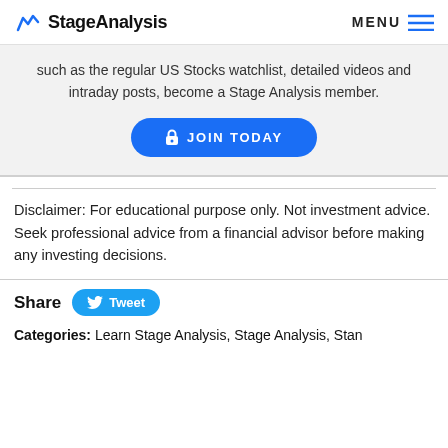StageAnalysis  MENU
such as the regular US Stocks watchlist, detailed videos and intraday posts, become a Stage Analysis member.
JOIN TODAY
Disclaimer: For educational purpose only. Not investment advice. Seek professional advice from a financial advisor before making any investing decisions.
Share  Tweet
Categories: Learn Stage Analysis, Stage Analysis, Stan